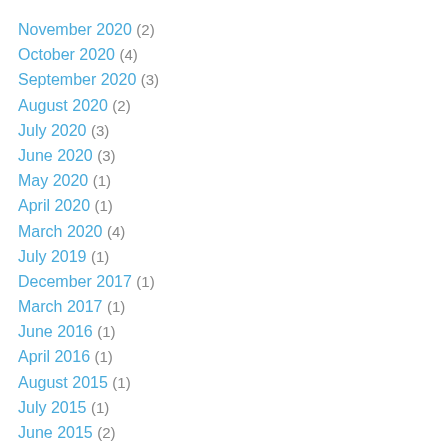November 2020 (2)
October 2020 (4)
September 2020 (3)
August 2020 (2)
July 2020 (3)
June 2020 (3)
May 2020 (1)
April 2020 (1)
March 2020 (4)
July 2019 (1)
December 2017 (1)
March 2017 (1)
June 2016 (1)
April 2016 (1)
August 2015 (1)
July 2015 (1)
June 2015 (2)
July 2013 (1)
March 2013 (2)